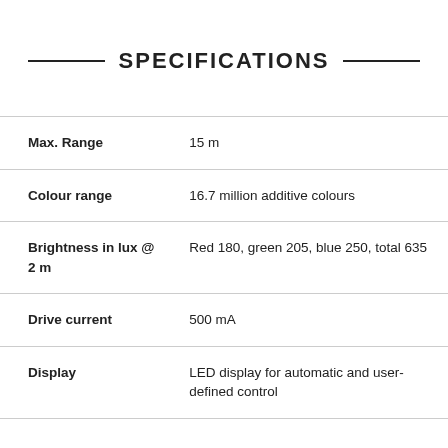SPECIFICATIONS
| Specification | Value |
| --- | --- |
| Max. Range | 15 m |
| Colour range | 16.7 million additive colours |
| Brightness in lux @ 2 m | Red 180, green 205, blue 250, total 635 |
| Drive current | 500 mA |
| Display | LED display for automatic and user-defined control |